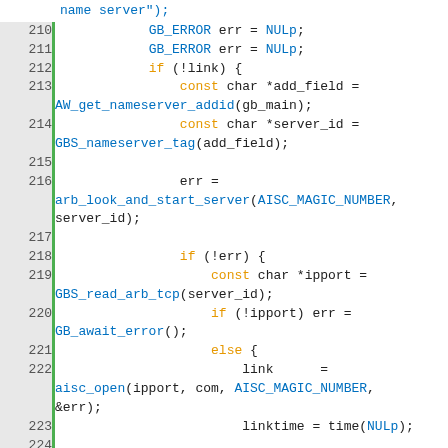[Figure (screenshot): Source code listing in C/C++ style with syntax highlighting, line numbers 210-231, showing server connection code involving GB_ERROR, AW_get_nameserver_addid, GBS_nameserver_tag, arb_look_and_start_server, GBS_read_arb_tcp, GB_await_error, aisc_open, GBS_global_string, expectServerUsesField functions.]